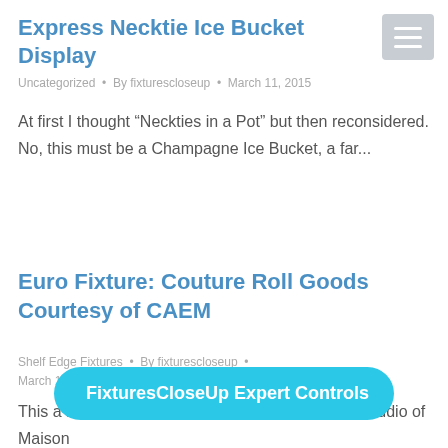Express Necktie Ice Bucket Display
Uncategorized · By fixturescloseup · March 11, 2015
At first I thought “Neckties in a Pot” but then reconsidered. No, this must be a Champagne Ice Bucket, a far...
Euro Fixture: Couture Roll Goods Courtesy of CAEM
Shelf Edge Fixtures · By fixturescloseup · March 11, 2015
This a Haute Co... perspective from the Fashion Studio of Maison
FixturesCloseUp Expert Controls